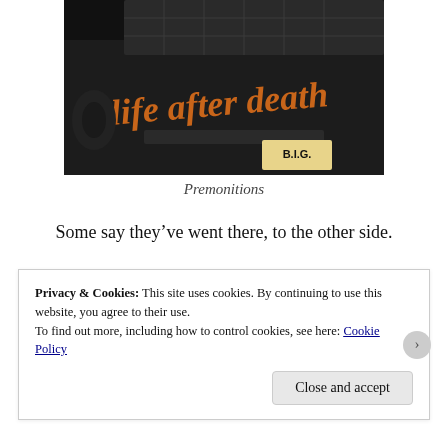[Figure (photo): Album cover of 'Life After Death' by The Notorious B.I.G. — black car with orange cursive text 'life after death' and a license plate reading 'B.I.G.']
Premonitions
Some say they've went there, to the other side.
That's what they'll tell you after they died.
Privacy & Cookies: This site uses cookies. By continuing to use this website, you agree to their use.
To find out more, including how to control cookies, see here: Cookie Policy
Close and accept